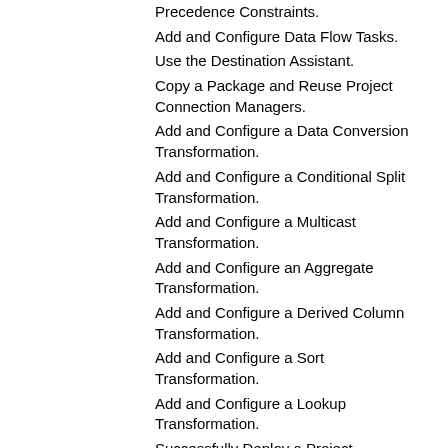Precedence Constraints.
Add and Configure Data Flow Tasks.
Use the Destination Assistant.
Copy a Package and Reuse Project Connection Managers.
Add and Configure a Data Conversion Transformation.
Add and Configure a Conditional Split Transformation.
Add and Configure a Multicast Transformation.
Add and Configure an Aggregate Transformation.
Add and Configure a Derived Column Transformation.
Add and Configure a Sort Transformation.
Add and Configure a Lookup Transformation.
Successfully Deploy a Project.